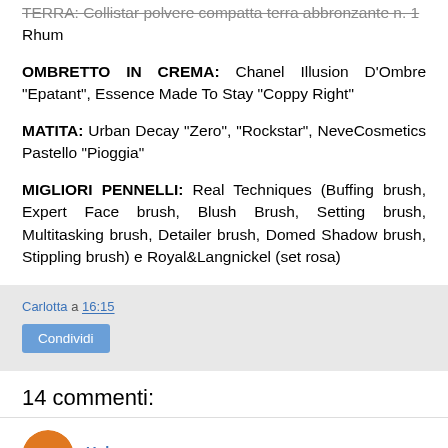TERRA: Collistar polvere compatta terra abbronzante n. 1 Rhum
OMBRETTO IN CREMA: Chanel Illusion D'Ombre "Epatant", Essence Made To Stay "Coppy Right"
MATITA: Urban Decay "Zero", "Rockstar", NeveCosmetics Pastello "Pioggia"
MIGLIORI PENNELLI: Real Techniques (Buffing brush, Expert Face brush, Blush Brush, Setting brush, Multitasking brush, Detailer brush, Domed Shadow brush, Stippling brush) e Royal&Langnickel (set rosa)
Carlotta a 16:15 [Condividi button]
14 commenti:
Unknown 8 gennaio 2013 17:49